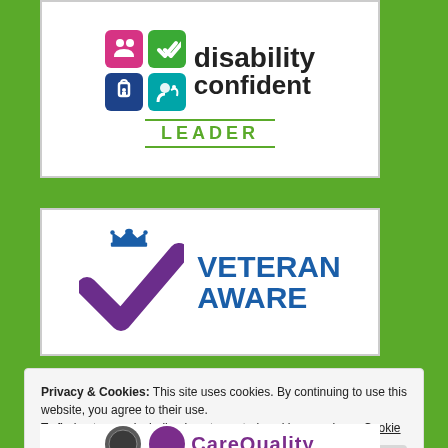[Figure (logo): Disability Confident Leader logo — coloured icon grid with 'disability confident' text and 'LEADER' in green below]
[Figure (logo): Veteran Aware logo — purple checkmark with a crown, and 'VETERAN AWARE' in blue bold text]
Privacy & Cookies: This site uses cookies. By continuing to use this website, you agree to their use.
To find out more, including how to control cookies, see here: Cookie Policy
Close and accept
[Figure (logo): Partial CareQuality Commission logo visible at bottom of page]